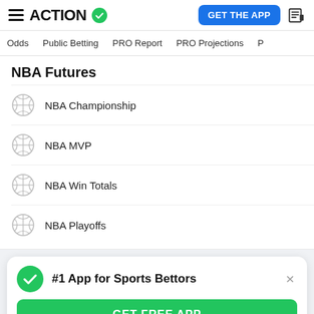ACTION - GET THE APP
Odds | Public Betting | PRO Report | PRO Projections
NBA Futures
NBA Championship
NBA MVP
NBA Win Totals
NBA Playoffs
#1 App for Sports Bettors
GET FREE APP